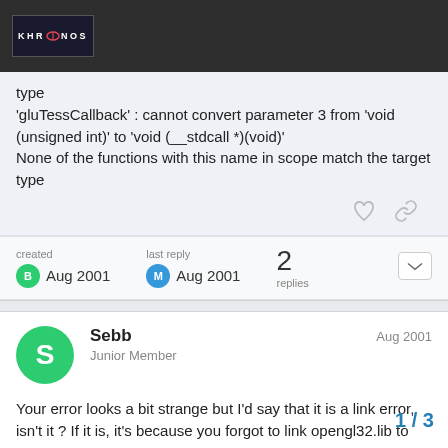Khronos
type
'gluTessCallback' : cannot convert parameter 3 from 'void (unsigned int)' to 'void (__stdcall *)(void)'
None of the functions with this name in scope match the target type
created Aug 2001  last reply Aug 2001  2 replies
Sebb
Junior Member
Aug 2001
Your error looks a bit strange but I'd say that it is a link error, isn't it ? If it is, it's because you forgot to link opengl32.lib to your project. If you don't know how to do, ask m
If it is a compilation error, I don't know wha
1 / 3